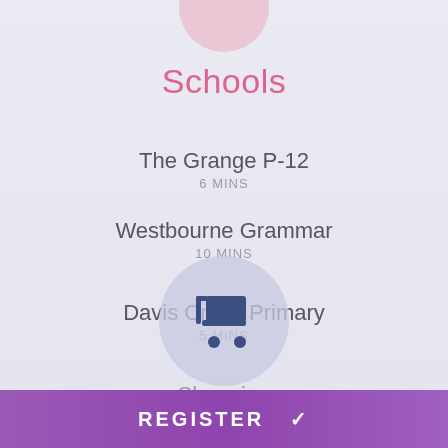[Figure (illustration): Pink circle partially visible at top center of page]
Schools
The Grange P-12
6 MINS
Westbourne Grammar
10 MINS
Davis Creek Primary
5 MINS
[Figure (illustration): Light purple/lavender circle with a dark blue shopping cart icon in the center]
Shopping
REGISTER ✓